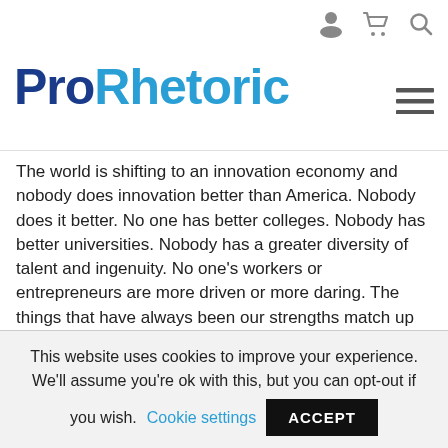Pro Rhetoric (website header with navigation icons)
Pro Rhetoric
The world is shifting to an innovation economy and nobody does innovation better than America. Nobody does it better. No one has better colleges. Nobody has better universities. Nobody has a greater diversity of talent and ingenuity. No one's workers or entrepreneurs are more driven or more daring. The things that have always been our strengths match up perfectly with the demands of the moment.
But we need to meet the moment. We've got to up our game. We need to remember that we can only do that together. It starts by making education a national
This website uses cookies to improve your experience. We'll assume you're ok with this, but you can opt-out if you wish. Cookie settings ACCEPT